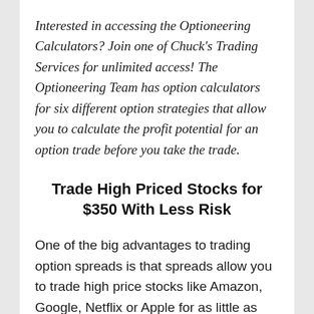Interested in accessing the Optioneering Calculators? Join one of Chuck's Trading Services for unlimited access! The Optioneering Team has option calculators for six different option strategies that allow you to calculate the profit potential for an option trade before you take the trade.
Trade High Priced Stocks for $350 With Less Risk
One of the big advantages to trading option spreads is that spreads allow you to trade high price stocks like Amazon, Google, Netflix or Apple for as little as